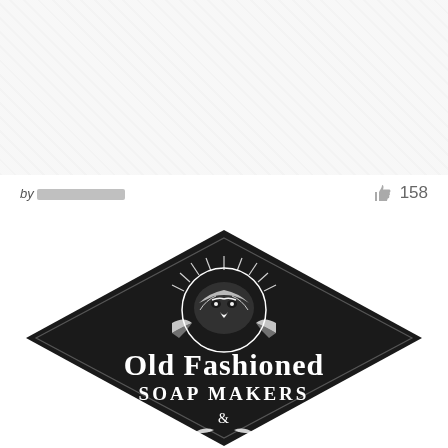[Figure (photo): Light grey textured image area at top of page, partially visible, appears to be a cropped design or artwork]
by ████████
158
[Figure (logo): Old Fashioned Soap Makers logo: black diamond/rhombus shape containing a detailed eagle head illustration with sunburst rays and crossed arrows, with decorative banner ribbons, and the text 'Old Fashioned Soap Makers &' in vintage serif lettering, white on black]